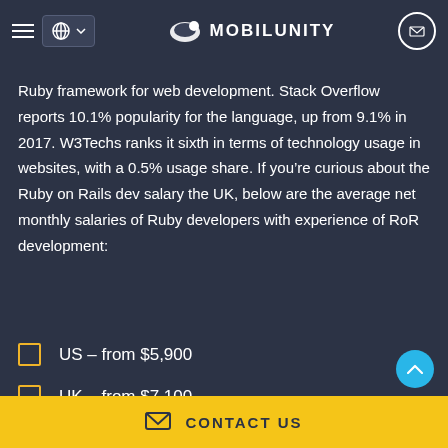MOBILUNITY
Ruby framework for web development. Stack Overflow reports 10.1% popularity for the language, up from 9.1% in 2017. W3Techs ranks it sixth in terms of technology usage in websites, with a 0.5% usage share. If you’re curious about the Ruby on Rails dev salary the UK, below are the average net monthly salaries of Ruby developers with experience of RoR development:
US – from $5,900
UK – from $7,100
CONTACT US